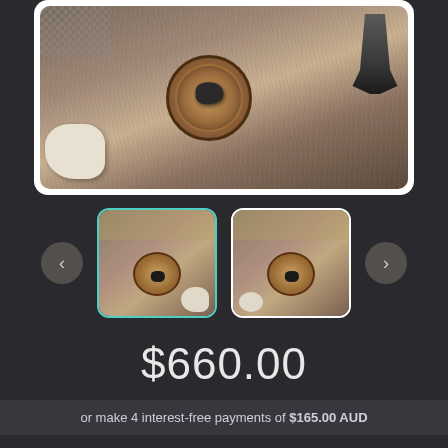[Figure (photo): Product photo showing a dark stone/crystal on a round wooden slice, displayed on fur background with animal skull and claw/talon. Main large product image.]
[Figure (photo): Thumbnail 1 (selected, teal border): close-up of dark stone on wooden disk with skull and necklace beads visible. Teal border indicates selected state.]
[Figure (photo): Thumbnail 2: similar close-up of dark stone on wooden disk, slightly different angle.]
$660.00
or make 4 interest-free payments of $165.00 AUD